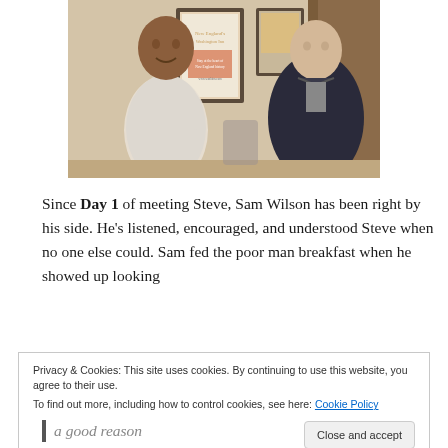[Figure (photo): Two men standing and talking indoors near framed pictures on a wall. The man on the left is a tall Black man in a light patterned shirt with arms crossed. The man on the right is a white man in a dark jacket. Background shows framed artwork/posters on a beige wall.]
Since Day 1 of meeting Steve, Sam Wilson has been right by his side. He’s listened, encouraged, and understood Steve when no one else could. Sam fed the poor man breakfast when he showed up looking
Privacy & Cookies: This site uses cookies. By continuing to use this website, you agree to their use.
To find out more, including how to control cookies, see here: Cookie Policy
Close and accept
a good reason